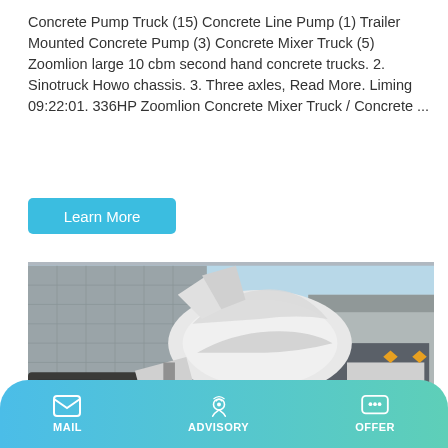Concrete Pump Truck (15) Concrete Line Pump (1) Trailer Mounted Concrete Pump (3) Concrete Mixer Truck (5) Zoomlion large 10 cbm second hand concrete trucks. 2. Sinotruck Howo chassis. 3. Three axles, Read More. Liming 09:22:01. 336HP Zoomlion Concrete Mixer Truck / Concrete ...
Learn More
[Figure (photo): A white concrete mixer truck photographed outdoors near industrial warehouse buildings, showing the cab on the left and the large rotating drum mixer on the right.]
MAIL  ADVISORY  OFFER